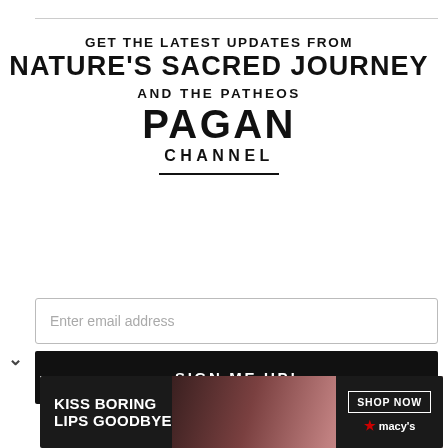GET THE LATEST UPDATES FROM NATURE'S SACRED JOURNEY AND THE PATHEOS PAGAN CHANNEL
Enter email address
SIGN ME UP!
YOU WILL ALSO RECEIVE SPECIAL OFFERS FROM OUR PARTNERS THAT HELP MAKE THIS CONTENT FREE FOR YOU. YOU CAN OPT OUT AT ANY TIME.
[Figure (infographic): Advertisement banner: KISS BORING LIPS GOODBYE with SHOP NOW and Macy's logo]